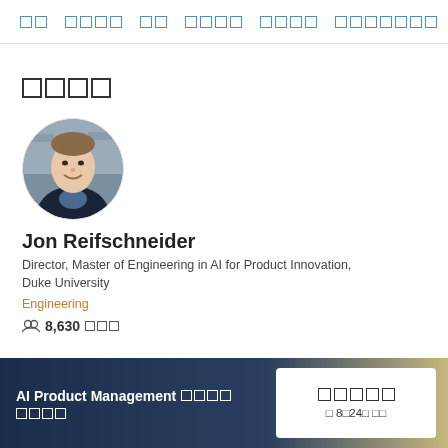□□  □□□□  □□  □□□□  □□□□  □□□□□□□
□□□□
[Figure (photo): Circular profile photo of Jon Reifschneider, a man in a dark jacket smiling against a brick/outdoor background]
Jon Reifschneider
Director, Master of Engineering in AI for Product Innovation, Duke University
Engineering
8,630 □□□
AI Product Management □□□□ □□□□
□□□□□
□ 8□24□ □□